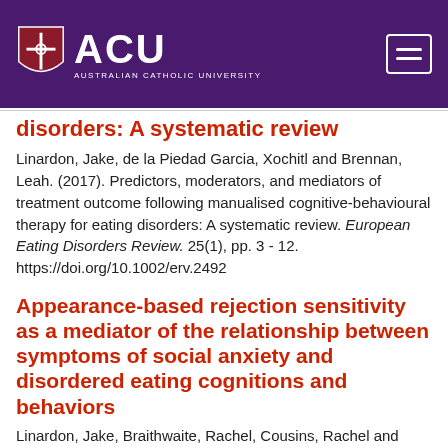[Figure (logo): Australian Catholic University (ACU) logo with shield and text on purple header bar]
disorders: A systematic review
Linardon, Jake, de la Piedad Garcia, Xochitl and Brennan, Leah. (2017). Predictors, moderators, and mediators of treatment outcome following manualised cognitive-behavioural therapy for eating disorders: A systematic review. European Eating Disorders Review. 25(1), pp. 3 - 12. https://doi.org/10.1002/erv.2492
Appearance-based rejection sensitivity as a mediator of the relationship between symptoms of social anxiety and disordered eating cognitions and behaviors
Linardon, Jake, Braithwaite, Rachel, Cousins, Rachel and Brennan, Leah. (2017). Appearance-based rejection sensitivity as a...